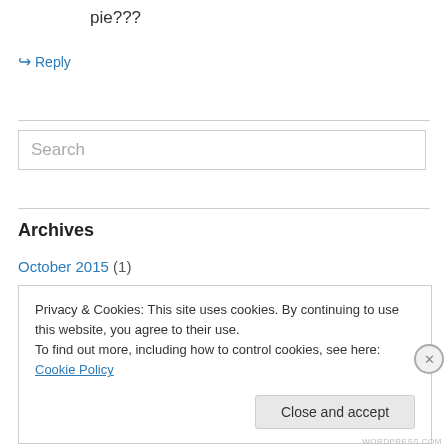pie???
↳ Reply
Search
Archives
October 2015 (1)
Privacy & Cookies: This site uses cookies. By continuing to use this website, you agree to their use.
To find out more, including how to control cookies, see here: Cookie Policy
Close and accept
WORDPRESS.COM